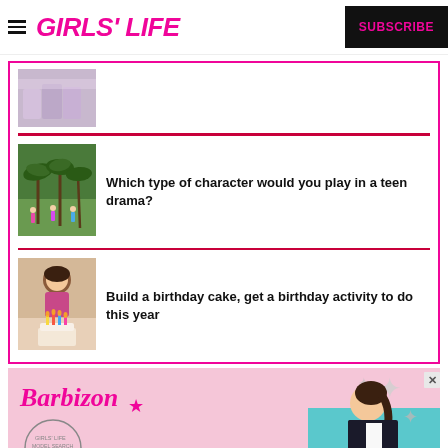GIRLS' LIFE  SUBSCRIBE
[Figure (photo): Thumbnail photo of fashion/people]
[Figure (photo): Thumbnail photo of palm trees and dancers]
Which type of character would you play in a teen drama?
[Figure (photo): Thumbnail photo of girl with birthday cake]
Build a birthday cake, get a birthday activity to do this year
[Figure (photo): Barbizon advertisement - Make Your Model - featuring a young woman in a black jacket on pink background with star decorations and Girls Life logo badge]